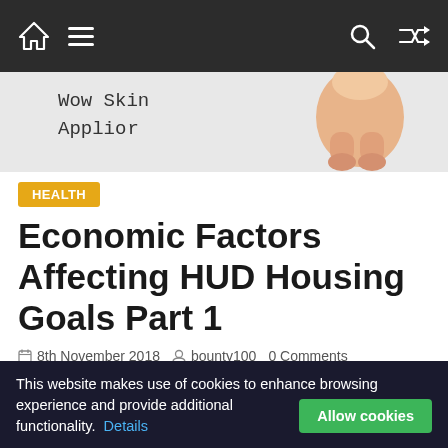Navigation bar with home, menu, search, and shuffle icons
[Figure (illustration): Partial image showing 'Wow Skin Applier' monospace text and cropped leg/feet image on right side]
HEALTH
Economic Factors Affecting HUD Housing Goals Part 1
8th November 2018  bounty100  0 Comments
[Figure (photo): Partial photo of a woman with red hair, cropped at top of frame]
This website makes use of cookies to enhance browsing experience and provide additional functionality.  Details  Allow cookies